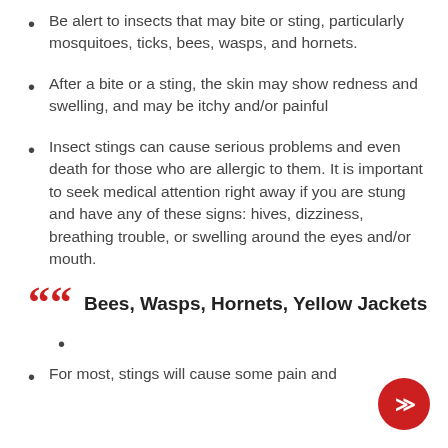Be alert to insects that may bite or sting, particularly mosquitoes, ticks, bees, wasps, and hornets.
After a bite or a sting, the skin may show redness and swelling, and may be itchy and/or painful
Insect stings can cause serious problems and even death for those who are allergic to them. It is important to seek medical attention right away if you are stung and have any of these signs: hives, dizziness, breathing trouble, or swelling around the eyes and/or mouth.
Bees, Wasps, Hornets, Yellow Jackets
For most, stings will cause some pain and